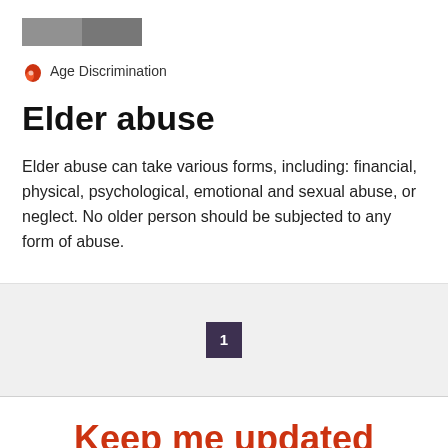[Figure (photo): Grayscale photo of people, partially cropped at top]
Age Discrimination
Elder abuse
Elder abuse can take various forms, including: financial, physical, psychological, emotional and sexual abuse, or neglect. No older person should be subjected to any form of abuse.
1
Keep me updated